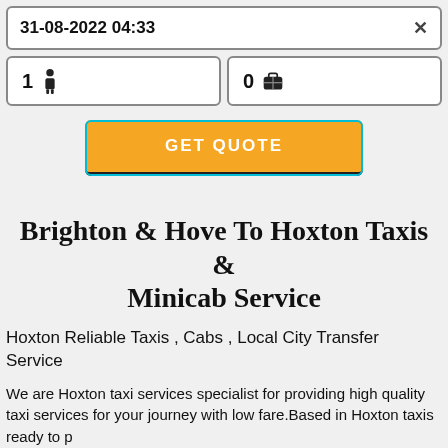31-08-2022 04:33
1 [person icon]
0 [bag icon]
GET QUOTE
Brighton & Hove To Hoxton Taxis & Minicab Service
Hoxton Reliable Taxis , Cabs , Local City Transfer Service
We are Hoxton taxi services specialist for providing high quality taxi services for your journey with low fare.Based in Hoxton taxis ready to pick you in Hoxton and nearest places ASAP pick-up for 24x 7 . You can also